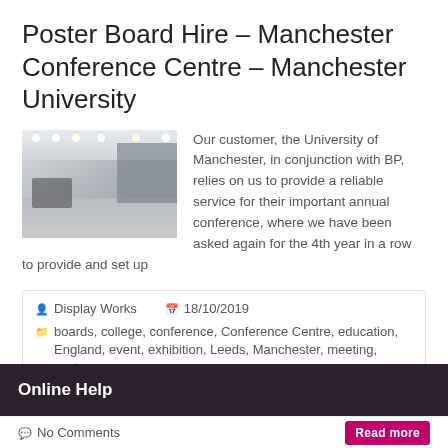Poster Board Hire – Manchester Conference Centre – Manchester University
[Figure (photo): Interior of a conference room at Manchester Conference Centre, showing ceiling lights, grey partition panels, chairs, and a reflective floor.]
Our customer, the University of Manchester, in conjunction with BP, relies on us to provide a reliable service for their important annual conference, where we have been asked again for the 4th year in a row to provide and set up
Display Works   18/10/2019
boards, college, conference, Conference Centre, education, England, event, exhibition, Leeds, Manchester, meeting, poster
Online Help
No Comments
Read more